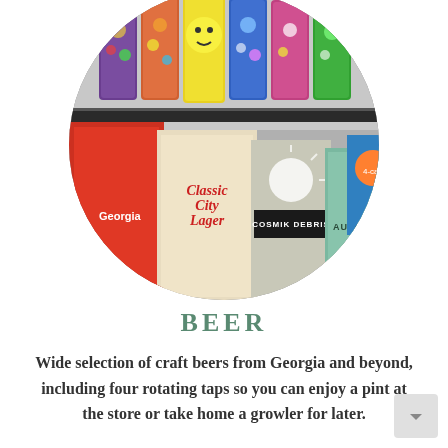[Figure (photo): Circular cropped photo of a beer store shelf featuring colorful craft beer cans on upper shelf and beer cases including Classic City Lager, Cosmik Debris, and Automatic on lower shelf]
BEER
Wide selection of craft beers from Georgia and beyond, including four rotating taps so you can enjoy a pint at the store or take home a growler for later.